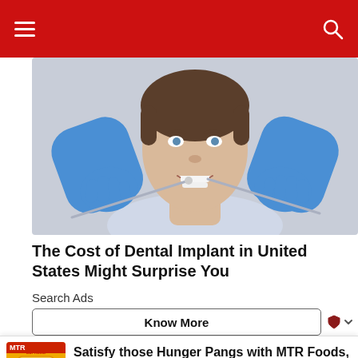Navigation bar with hamburger menu and search icon
[Figure (photo): A young woman with short hair lying in a dental chair, mouth open, with a dental professional wearing blue latex gloves using dental instruments to examine her teeth.]
The Cost of Dental Implant in United States Might Surprise You
Search Ads
Know More
[Figure (photo): MTR Foods advertisement banner showing a yellow packet of MTR Upma with the MTR logo. Text: Satisfy those Hunger Pangs with MTR Foods, Anytime Anywhere! MTR Foods]